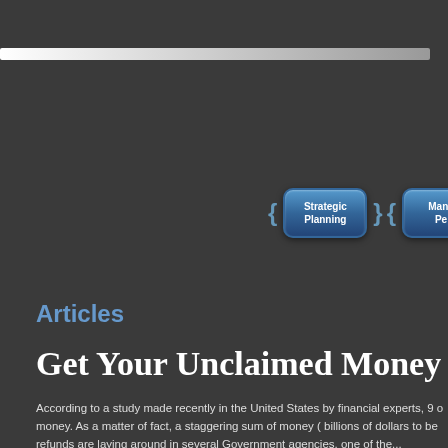[Figure (other): Website navigation bar with horizontal gradient white-to-gray bar at top]
[Figure (other): Navigation buttons showing 'Strategic Planning' and partially visible 'Mana Pe' button with blue bracket-style tab design on dark gray background]
Articles
Get Your Unclaimed Money Sh
According to a study made recently in the United States by financial experts, 9 ... money. As a matter of fact, a staggering sum of money ( billions of dollars to be ... refunds are laying around in several Government agencies, one of the...